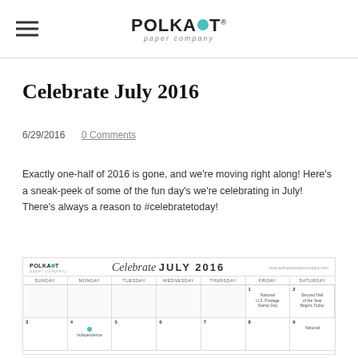Polka Dot Paper Company
Celebrate July 2016
6/29/2016   0 Comments
Exactly one-half of 2016 is gone, and we're moving right along! Here's a sneak-peek of some of the fun day's we're celebrating in July! There's always a reason to #celebratetoday!
[Figure (other): Celebrate July 2016 calendar thumbnail showing a monthly calendar grid with days of the week, featuring entries like National U.S. Postage Stamp Day on Friday July 1, Second Half of the Year Begins Today on Saturday July 2, and Independence Day area on Monday July 4 with a teal dot marker. The calendar header shows the Polka Dot Paper Company logo on the left and Celebrate JULY 2016 in the center.]